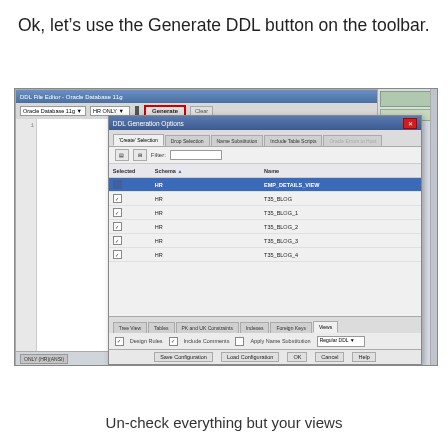Ok, let’s use the Generate DDL button on the toolbar.
[Figure (screenshot): Screenshot of Oracle Database 11g DDL File Editor with DDL Generation Options dialog open. The dialog shows a table with Selected, Schema, and Name columns. The first row (EMP_DETAILS_VIEW) is highlighted in blue. Other rows show HR schema items: T35_BLOG, T35_BLOG_1, T35_BLOG_2, T35_BLOG_3, T35_BLOG_4, T35_BLOG_5. The Generate button on the toolbar is highlighted with a red box. Tabs at bottom include Tree View, Tables, PK and UK Constraints, Indexes, Foreign Keys, Views (active). Options bar shows Design Rules, Include Comments (checked), Apply Name Substitution, and Regular DDL dropdown. Action buttons: Save Configuration, Load Configuration, OK, Cancel, Help.]
Un-check everything but your views